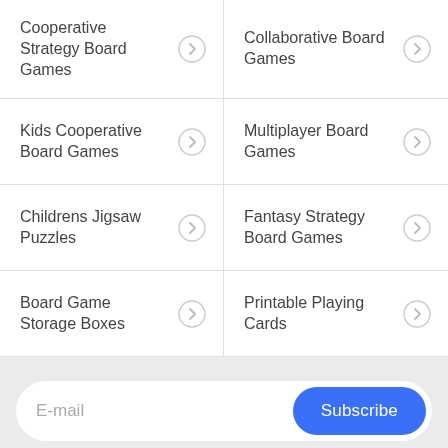Cooperative Strategy Board Games
Collaborative Board Games
Kids Cooperative Board Games
Multiplayer Board Games
Childrens Jigsaw Puzzles
Fantasy Strategy Board Games
Board Game Storage Boxes
Printable Playing Cards
E-mail
Subscribe